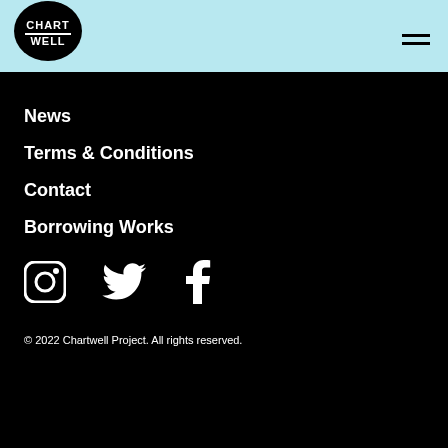[Figure (logo): Chartwell logo: black silhouette with white text CHART-WELL on light blue header background]
News
Terms & Conditions
Contact
Borrowing Works
[Figure (infographic): Social media icons: Instagram, Twitter, Facebook — white icons on black background]
© 2022 Chartwell Project. All rights reserved.